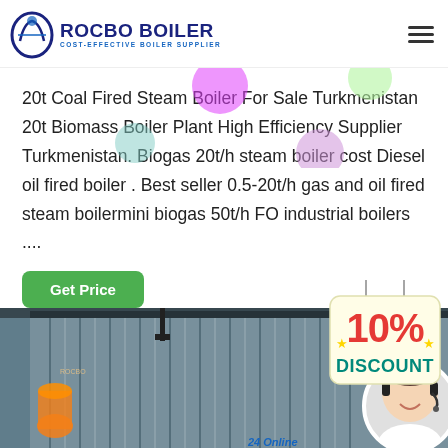ROCBO BOILER - COST-EFFECTIVE BOILER SUPPLIER
20t Coal Fired Steam Boiler For Sale Turkmenistan 20t Biomass Boiler Plant High Efficiency Supplier Turkmenistan. Biogas 20t/h steam boiler cost Diesel oil fired boiler . Best seller 0.5-20t/h gas and oil fired steam boilermini biogas 50t/h FO industrial boilers ....
Get Price
[Figure (photo): Industrial boiler installation in a large warehouse with corrugated metal walls and visible piping, with a customer service representative overlay and 10% discount badge]